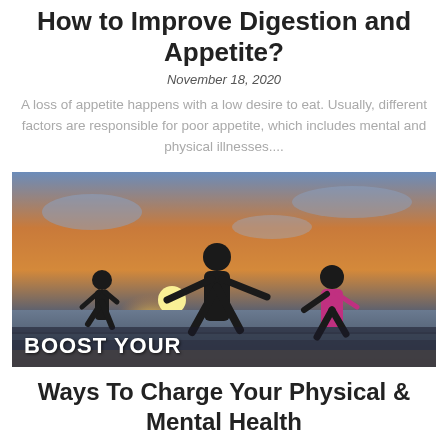How to Improve Digestion and Appetite?
November 18, 2020
A loss of appetite happens with a low desire to eat. Usually, different factors are responsible for poor appetite, which includes mental and physical illnesses....
[Figure (photo): Silhouette of a woman and two children running on a beach at sunset with text overlay 'BOOST YOUR']
Ways To Charge Your Physical & Mental Health